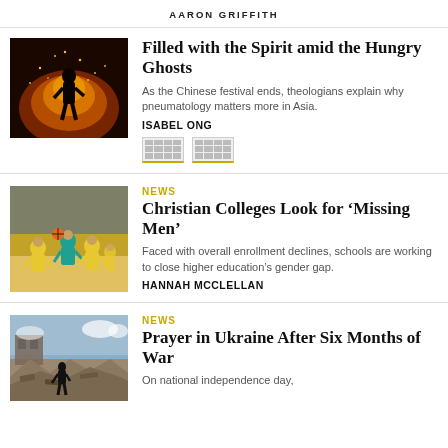AARON GRIFFITH
[Figure (photo): Silhouette of person in front of large fire with sparks]
Filled with the Spirit amid the Hungry Ghosts
As the Chinese festival ends, theologians explain why pneumatology matters more in Asia.
ISABEL ONG
[Figure (other): Two tag/label buttons with yellow underline]
NEWS
[Figure (photo): Basketball players on a court in yellow jerseys]
Christian Colleges Look for ‘Missing Men’
Faced with overall enrollment declines, schools are working to close higher education’s gender gap.
HANNAH MCCLELLAN
NEWS
[Figure (photo): Rubble and destruction in Ukraine, person in black walking through debris]
Prayer in Ukraine After Six Months of War
On national independence day,